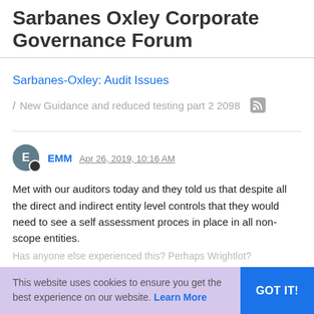Sarbanes Oxley Corporate Governance Forum
Sarbanes-Oxley: Audit Issues
/ New Guidance and reduced testing part 2 2098
EMM Apr 26, 2019, 10:16 AM
Met with our auditors today and they told us that despite all the direct and indirect entity level controls that they would need to see a self assessment proces in place in all non-scope entities. Has anyone else experienced this? Perhaps Wrightlot?
This website uses cookies to ensure you get the best experience on our website. Learn More